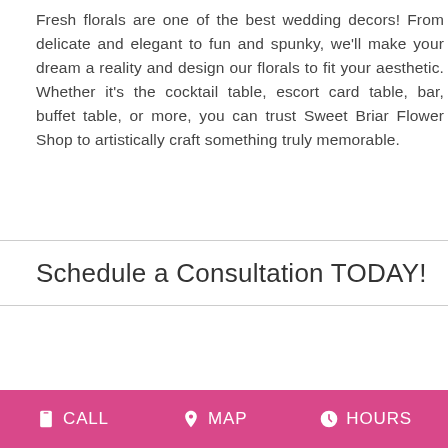Fresh florals are one of the best wedding decors! From delicate and elegant to fun and spunky, we'll make your dream a reality and design our florals to fit your aesthetic. Whether it's the cocktail table, escort card table, bar, buffet table, or more, you can trust Sweet Briar Flower Shop to artistically craft something truly memorable.
Schedule a Consultation TODAY!
CALL  MAP  HOURS